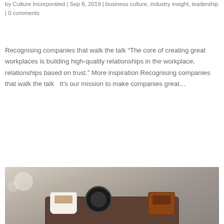by Culture Incorporated | Sep 6, 2019 | business culture, industry insight, leadership | 0 comments
Recognising companies that walk the talk “The core of creating great workplaces is building high-quality relationships in the workplace, relationships based on trust.” More inspiration Recognising companies that walk the talk   It’s our mission to make companies great…
[Figure (photo): Photo of coffee cups arranged on a wooden tray or log, viewed from above, with a blurred bokeh background.]